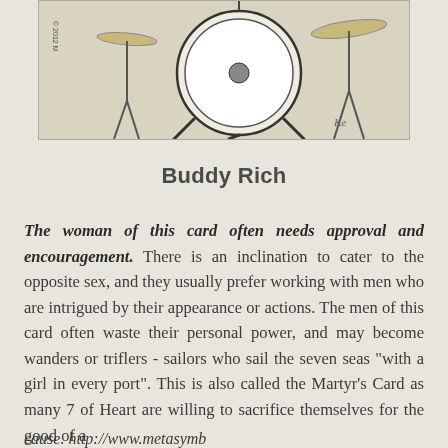[Figure (photo): Partial image of a drum kit set against a beige/cream background, with copyright text '© 2012 M' visible on the left side and a signature mark on the lower right.]
Buddy Rich
The woman of this card often needs approval and encouragement. There is an inclination to cater to the opposite sex, and they usually prefer working with men who are intrigued by their appearance or actions. The men of this card often waste their personal power, and may become wanders or triflers - sailors who sail the seven seas "with a girl in every port". This is also called the Martyr's Card as many 7 of Heart are willing to sacrifice themselves for the good of a cause. http://www.metasymbology.com/